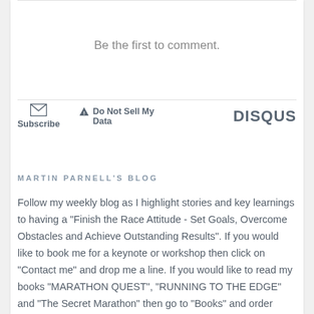Be the first to comment.
Subscribe   ▲ Do Not Sell My Data   DISQUS
MARTIN PARNELL'S BLOG
Follow my weekly blog as I highlight stories and key learnings to having a "Finish the Race Attitude - Set Goals, Overcome Obstacles and Achieve Outstanding Results". If you would like to book me for a keynote or workshop then click on "Contact me" and drop me a line. If you would like to read my books "MARATHON QUEST", "RUNNING TO THE EDGE" and "The Secret Marathon" then go to "Books" and order them from